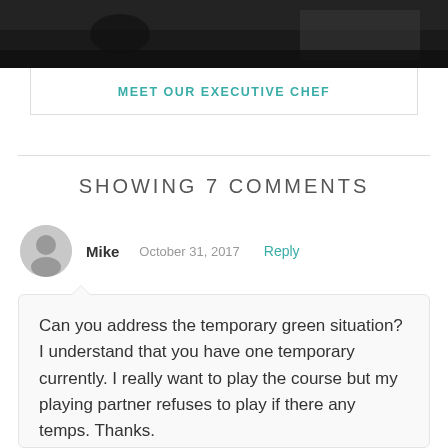[Figure (photo): Dark top image showing a dining/kitchen scene]
MEET OUR EXECUTIVE CHEF
SHOWING 7 COMMENTS
Mike  October 31, 2017  Reply
Can you address the temporary green situation? I understand that you have one temporary currently. I really want to play the course but my playing partner refuses to play if there any temps. Thanks.